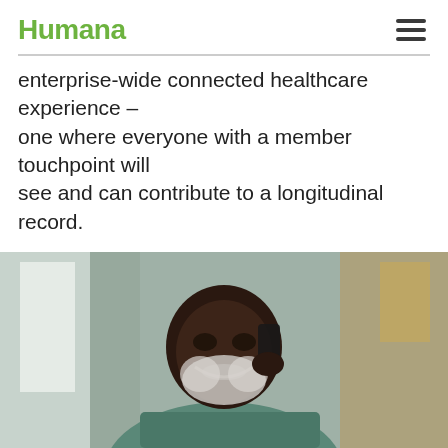Humana
enterprise-wide connected healthcare experience – one where everyone with a member touchpoint will see and can contribute to a longitudinal record.
Watch the Video →
[Figure (photo): A smiling older Black man with a white beard talking on a mobile phone, sitting indoors in a well-lit room]